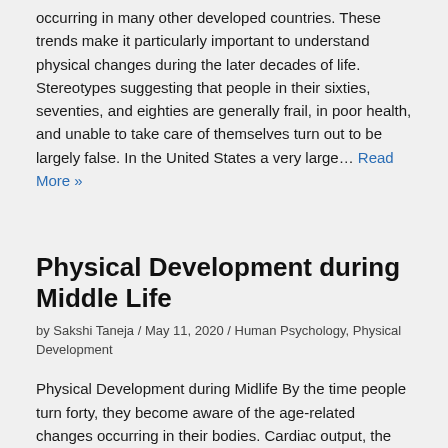occurring in many other developed countries. These trends make it particularly important to understand physical changes during the later decades of life. Stereotypes suggesting that people in their sixties, seventies, and eighties are generally frail, in poor health, and unable to take care of themselves turn out to be largely false. In the United States a very large… Read More »
Physical Development during Middle Life
by Sakshi Taneja / May 11, 2020 / Human Psychology, Physical Development
Physical Development during Midlife By the time people turn forty, they become aware of the age-related changes occurring in their bodies. Cardiac output, the amount of